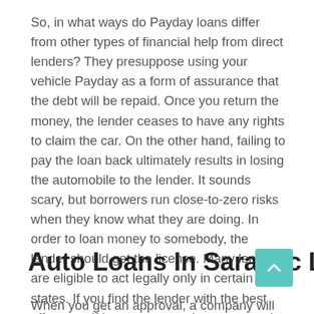So, in what ways do Payday loans differ from other types of financial help from direct lenders? They presuppose using your vehicle Payday as a form of assurance that the debt will be repaid. Once you return the money, the lender ceases to have any rights to claim the car. On the other hand, failing to pay the loan back ultimately results in losing the automobile to the lender. It sounds scary, but borrowers run close-to-zero risks when they know what they are doing. In order to loan money to somebody, the lender should get the license. Many lenders are eligible to act legally only in certain states. If you find the lender with the best offer ever, if he can operate in your state. It makes sense to take this fact into account before you start your search. The situation can be even worse when your lender claims to have a license in your state, but in fact, he doesn't.
Auto Loans In Saranac Lake
When you get an approval, a company will transfer money